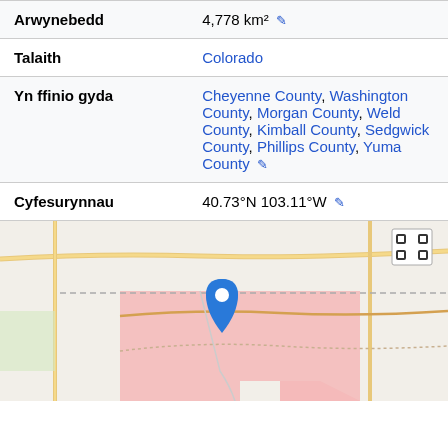| Field | Value |
| --- | --- |
| Arwynebedd | 4,778 km² |
| Talaith | Colorado |
| Yn ffinio gyda | Cheyenne County, Washington County, Morgan County, Weld County, Kimball County, Sedgwick County, Phillips County, Yuma County |
| Cyfesurynnau | 40.73°N 103.11°W |
[Figure (map): Map showing location with a pink highlighted county region and a blue location pin marker in Colorado]